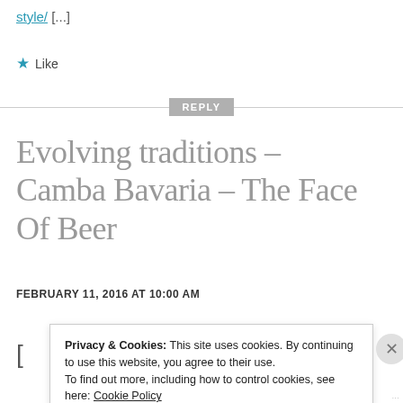style/ [...]
★ Like
REPLY
Evolving traditions – Camba Bavaria – The Face Of Beer
FEBRUARY 11, 2016 AT 10:00 AM
Privacy & Cookies: This site uses cookies. By continuing to use this website, you agree to their use. To find out more, including how to control cookies, see here: Cookie Policy
Close and accept